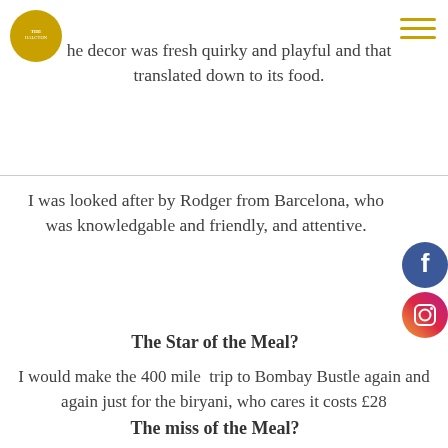[Figure (logo): Circular gold logo in top-left corner]
he decor was fresh quirky and playful and that translated down to its food.
[Figure (other): Facebook circular icon on right side]
[Figure (other): Instagram circular icon on right side]
I was looked after by Rodger from Barcelona, who was knowledgable and friendly, and attentive.
The Star of the Meal?
I would make the 400 mile  trip to Bombay Bustle again and again just for the biryani, who cares it costs £28
The miss of the Meal?